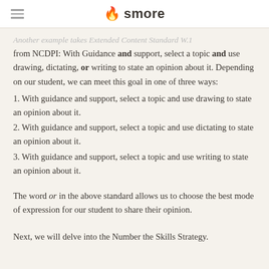smore
Another example takes Extended Content Standard W.1 from NCDPI: With Guidance and support, select a topic and use drawing, dictating, or writing to state an opinion about it. Depending on our student, we can meet this goal in one of three ways:
1. With guidance and support, select a topic and use drawing to state an opinion about it.
2. With guidance and support, select a topic and use dictating to state an opinion about it.
3. With guidance and support, select a topic and use writing to state an opinion about it.
The word or in the above standard allows us to choose the best mode of expression for our student to share their opinion.
Next, we will delve into the Number the Skills Strategy.